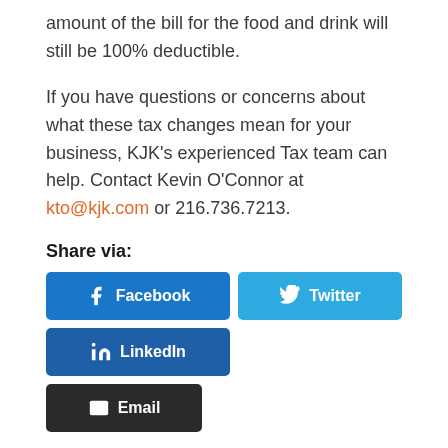amount of the bill for the food and drink will still be 100% deductible.
If you have questions or concerns about what these tax changes mean for your business, KJK's experienced Tax team can help. Contact Kevin O'Connor at kto@kjk.com or 216.736.7213.
Share via:
[Figure (infographic): Social share buttons: Facebook (blue), Twitter (light blue), LinkedIn (dark blue), Email (dark/black)]